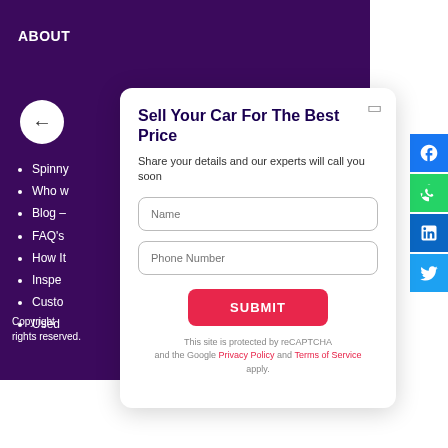ABOUT
Spinny
Who w
Blog –
FAQ's
How It
Inspe
Custo
Used
Copyright rights reserved.
Sell Your Car For The Best Price
Share your details and our experts will call you soon
Name
Phone Number
SUBMIT
This site is protected by reCAPTCHA and the Google Privacy Policy and Terms of Service apply.